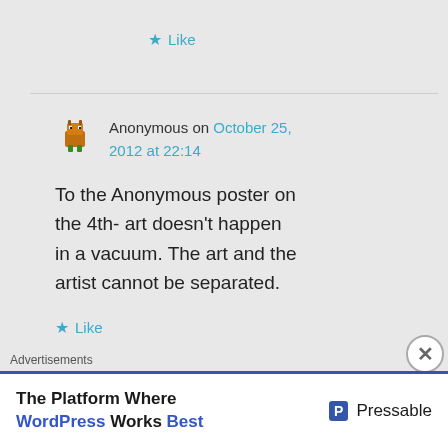★ Like
Anonymous on October 25, 2012 at 22:14
To the Anonymous poster on the 4th- art doesn't happen in a vacuum. The art and the artist cannot be separated.
★ Like
Advertisements
The Platform Where WordPress Works Best   Pressable